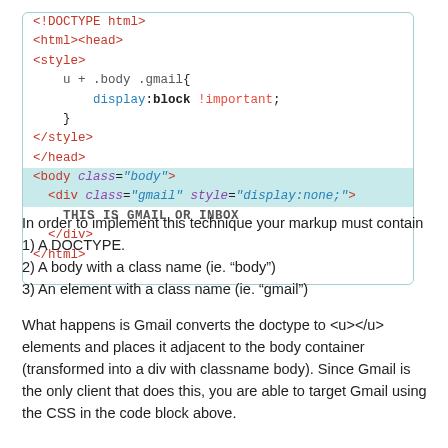[Figure (screenshot): A code block showing HTML with DOCTYPE, html, head, style, body, div elements. Lines with <body class="body"> and <div class="gmail" style="display:none;"> are highlighted in teal.]
In order to implement this technique your markup must contain
1) A DOCTYPE.
2) A body with a class name (ie. “body”)
3) An element with a class name (ie. “gmail”)
What happens is Gmail converts the doctype to <u></u> elements and places it adjacent to the body container (transformed into a div with classname body). Since Gmail is the only client that does this, you are able to target Gmail using the CSS in the code block above.